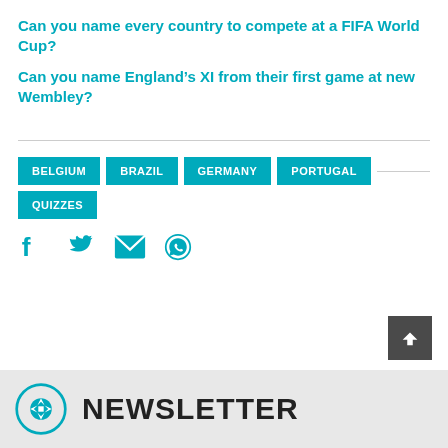Can you name every country to compete at a FIFA World Cup?
Can you name England's XI from their first game at new Wembley?
BELGIUM
BRAZIL
GERMANY
PORTUGAL
QUIZZES
[Figure (infographic): Social share icons: Facebook, Twitter, Email, WhatsApp in teal color]
NEWSLETTER